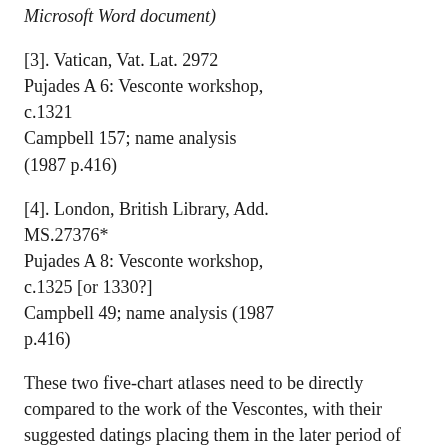Microsoft Word document)
[3]. Vatican, Vat. Lat. 2972
Pujades A 6: Vesconte workshop, c.1321
Campbell 157; name analysis (1987 p.416)
[4]. London, British Library, Add. MS.27376*
Pujades A 8: Vesconte workshop, c.1325 [or 1330?]
Campbell 49; name analysis (1987 p.416)
These two five-chart atlases need to be directly compared to the work of the Vescontes, with their suggested datings placing them in the later period of Vescontian activity. Pujades proposes that the two unsigned works were workshop productions, rather than from the hand of either Pietro or Perrino. Both are examples of a promotional work, 'Liber